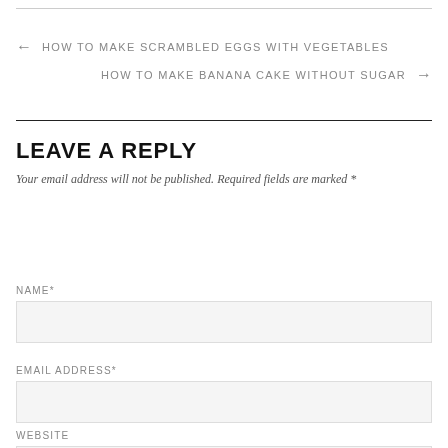← HOW TO MAKE SCRAMBLED EGGS WITH VEGETABLES
HOW TO MAKE BANANA CAKE WITHOUT SUGAR →
LEAVE A REPLY
Your email address will not be published. Required fields are marked *
NAME*
EMAIL ADDRESS*
WEBSITE